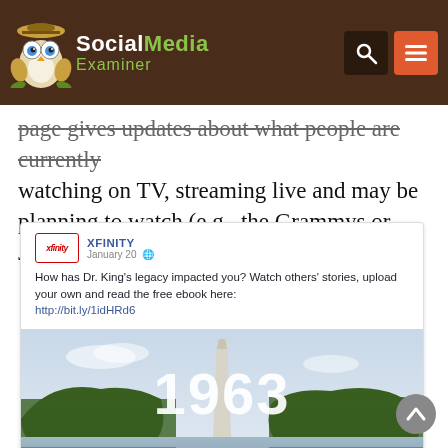Social Media Examiner
page gives updates about what people are currently watching on TV, streaming live and may be planning to watch (e.g., the Grammys or Jimmy Fallon).
[Figure (screenshot): Facebook post by XFINITY dated January 20, showing text about Dr. King's legacy with a link http://bit.ly/1idHRd6 and an image showing '1963' over a photo of the Washington Monument and Lincoln Memorial Reflecting Pool with a large crowd.]